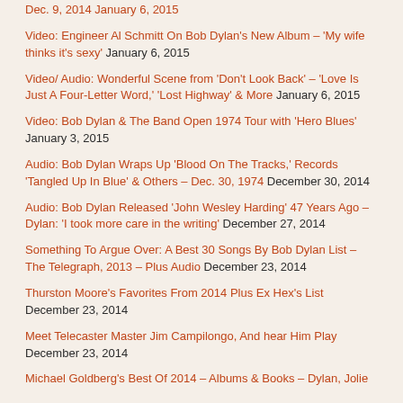Dec. 9, 2014 January 6, 2015
Video: Engineer Al Schmitt On Bob Dylan's New Album – 'My wife thinks it's sexy' January 6, 2015
Video/ Audio: Wonderful Scene from 'Don't Look Back' – 'Love Is Just A Four-Letter Word,' 'Lost Highway' & More January 6, 2015
Video: Bob Dylan & The Band Open 1974 Tour with 'Hero Blues' January 3, 2015
Audio: Bob Dylan Wraps Up 'Blood On The Tracks,' Records 'Tangled Up In Blue' & Others – Dec. 30, 1974 December 30, 2014
Audio: Bob Dylan Released 'John Wesley Harding' 47 Years Ago – Dylan: 'I took more care in the writing' December 27, 2014
Something To Argue Over: A Best 30 Songs By Bob Dylan List – The Telegraph, 2013 – Plus Audio December 23, 2014
Thurston Moore's Favorites From 2014 Plus Ex Hex's List December 23, 2014
Meet Telecaster Master Jim Campilongo, And hear Him Play December 23, 2014
Michael Goldberg's Best Of 2014 – Albums & Books – Dylan, Jolie